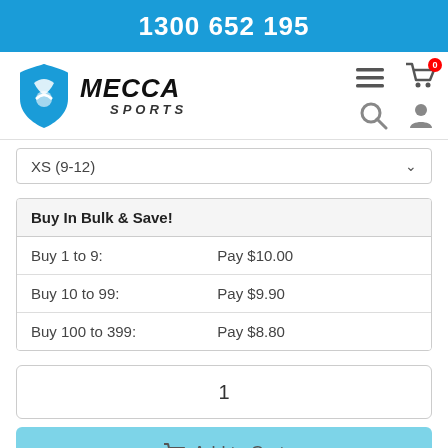1300 652 195
[Figure (logo): Mecca Sports logo with blue shield icon and MECCA SPORTS text]
XS (9-12)
| Buy In Bulk & Save! |
| --- |
| Buy 1 to 9: | Pay $10.00 |
| Buy 10 to 99: | Pay $9.90 |
| Buy 100 to 399: | Pay $8.80 |
1
Add to Cart